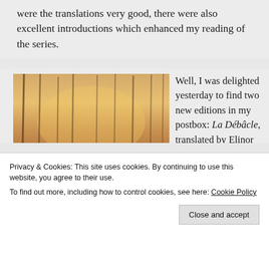were the translations very good, there were also excellent introductions which enhanced my reading of the series.
[Figure (illustration): A winter battle scene painting showing soldiers on horseback and on foot fighting in a snowy wooded landscape, with bare trees in the background and a warm orange/golden sky. Artillery and cavalry are visible in the chaos of battle.]
Emile Zola
Well, I was delighted yesterday to find two new editions in my postbox: La Débâcle, translated by Elinor Dorday –
Privacy & Cookies: This site uses cookies. By continuing to use this website, you agree to their use.
To find out more, including how to control cookies, see here: Cookie Policy
Close and accept